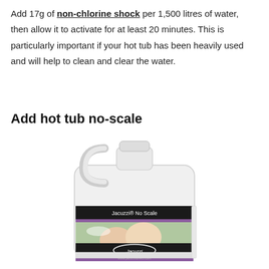Add 17g of non-chlorine shock per 1,500 litres of water, then allow it to activate for at least 20 minutes. This is particularly important if your hot tub has been heavily used and will help to clean and clear the water.
Add hot tub no-scale
[Figure (photo): A large white plastic jug/container of Jacuzzi No Scale product with a black and purple label showing two women in a hot tub, with the Jacuzzi brand logo and website URL at the bottom of the label.]